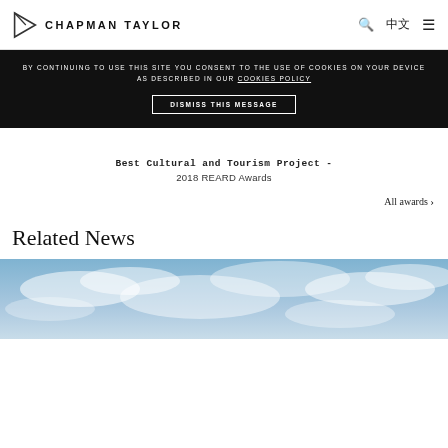CHAPMAN TAYLOR
BY CONTINUING TO USE THIS SITE YOU CONSENT TO THE USE OF COOKIES ON YOUR DEVICE AS DESCRIBED IN OUR COOKIES POLICY DISMISS THIS MESSAGE
Best Cultural and Tourism Project - 2018 REARD Awards
All awards
Related News
[Figure (photo): Sky with blue and white clouds, partial view of a building or structure at bottom edge]